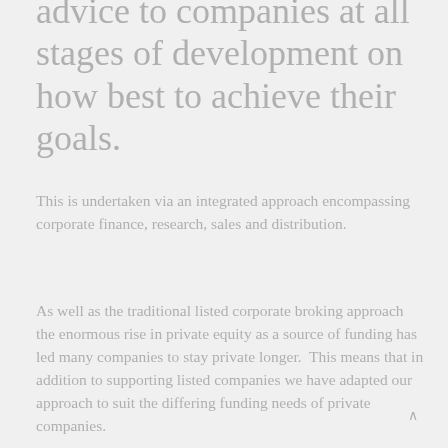advice to companies at all stages of development on how best to achieve their goals.
This is undertaken via an integrated approach encompassing corporate finance, research, sales and distribution.
As well as the traditional listed corporate broking approach the enormous rise in private equity as a source of funding has led many companies to stay private longer.  This means that in addition to supporting listed companies we have adapted our approach to suit the differing funding needs of private companies.